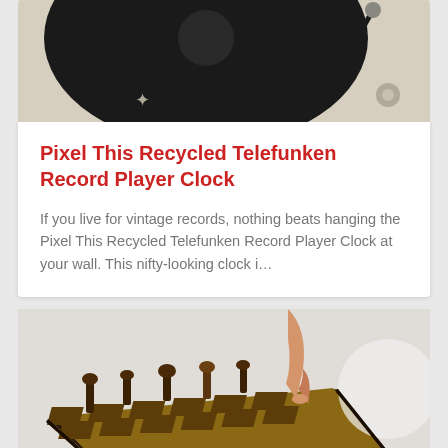[Figure (photo): Top portion of a vintage Telefunken record player with a black vinyl record and tonearm on a cream-colored base]
Pixel This Recycled Telefunken Record Player Clock
If you live for vintage records, nothing beats hanging the Pixel This Recycled Telefunken Record Player Clock at your wall. This nifty-looking clock i…
[Figure (photo): A hand touching wooden laser-cut chess pieces on a wooden chess board with intricate cutout patterns]